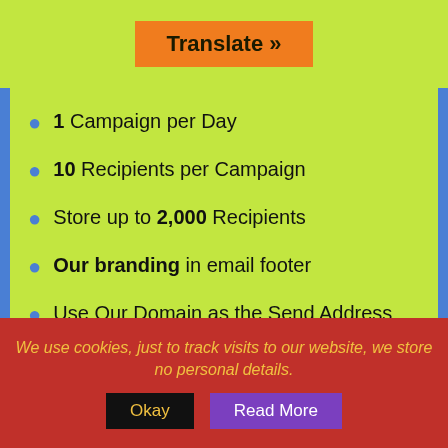Translate »
1 Campaign per Day
10 Recipients per Campaign
Store up to 2,000 Recipients
Our branding in email footer
Use Our Domain as the Send Address
Basic Recipients Custom Fields
We use cookies, just to track visits to our website, we store no personal details.
Okay
Read More